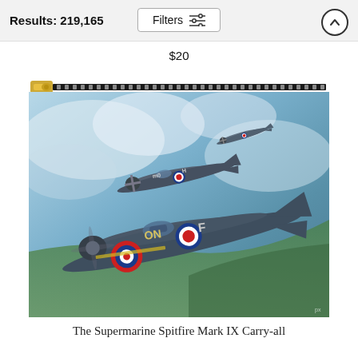Results: 219,165
$20
[Figure (photo): A carry-all pouch product featuring painted artwork of three Supermarine Spitfire Mark IX WWII fighter aircraft in formation flight against a cloudy sky and green landscape. The foreground aircraft shows roundel markings 'ON-F'. The pouch has a gold zipper at the top.]
The Supermarine Spitfire Mark IX Carry-all